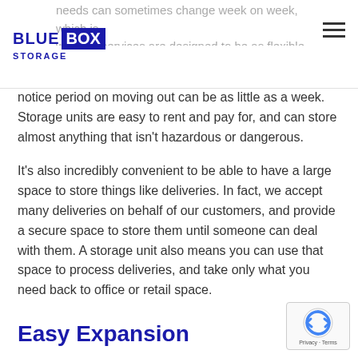Blue Box Storage logo and navigation
needs can sometimes change week on week, which is why our services are designed to be as flexible as possible. You can move up and down unit sizes as much as you need with very little notice, and your notice period on moving out can be as little as a week. Storage units are easy to rent and pay for, and can store almost anything that isn't hazardous or dangerous.
It's also incredibly convenient to be able to have a large space to store things like deliveries. In fact, we accept many deliveries on behalf of our customers, and provide a secure space to store them until someone can deal with them. A storage unit also means you can use that space to process deliveries, and take only what you need back to office or retail space.
Easy Expansion